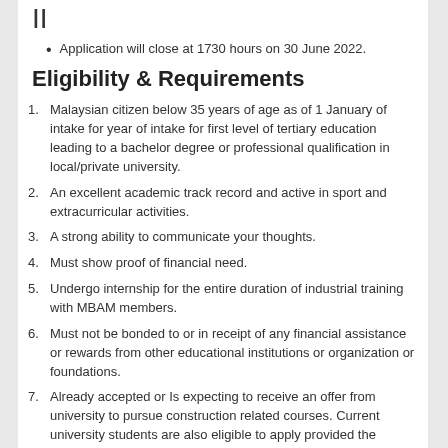II
Application will close at 1730 hours on 30 June 2022.
Eligibility & Requirements
Malaysian citizen below 35 years of age as of 1 January of intake for year of intake for first level of tertiary education leading to a bachelor degree or professional qualification in local/private university.
An excellent academic track record and active in sport and extracurricular activities.
A strong ability to communicate your thoughts.
Must show proof of financial need.
Undergo internship for the entire duration of industrial training with MBAM members.
Must not be bonded to or in receipt of any financial assistance or rewards from other educational institutions or organization or foundations.
Already accepted or Is expecting to receive an offer from university to pursue construction related courses. Current university students are also eligible to apply provided the courses pursued are related to construction.
Applicant must have secured a letter of offer from the university.